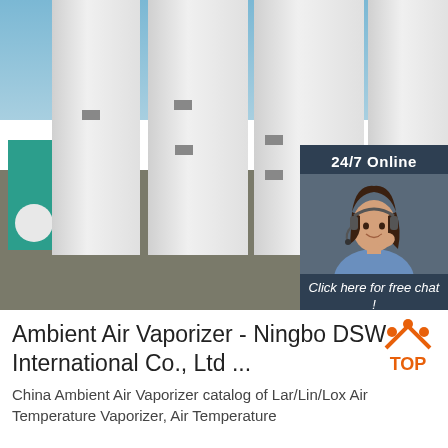[Figure (photo): Industrial ambient air vaporizer tanks (large white cylindrical silos) at a facility with teal/green building in background, blue sky]
[Figure (infographic): 24/7 Online customer service ad panel with woman wearing headset, 'Click here for free chat!' text and orange QUOTATION button]
Ambient Air Vaporizer - Ningbo DSW International Co., Ltd ...
[Figure (logo): TOP logo with orange triangles/dots above orange text 'TOP']
China Ambient Air Vaporizer catalog of Lar/Lin/Lox Air Temperature Vaporizer, Air Temperature